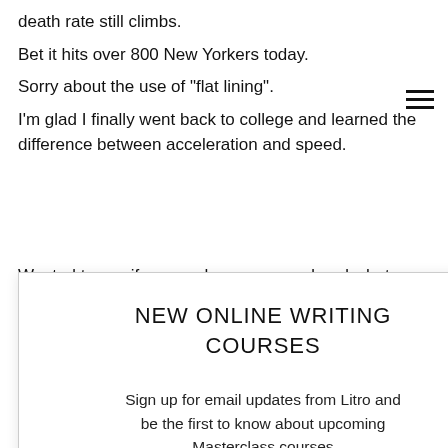death rate still climbs.
Bet it hits over 800 New Yorkers today.
Sorry about the use of "flat lining".
I'm glad I finally went back to college and learned the difference between acceleration and speed.
Wanted to say if anyone has ever wondered what you're sheltering dea. rushing dream of still ood. ses quickly and ou've got a
[Figure (other): Modal popup overlay with title 'NEW ONLINE WRITING COURSES', body text 'Sign up for email updates from Litro and be the first to know about upcoming Masterclass courses', and two buttons: 'Start Now' (magenta) and 'Not now' (black)]
You watch 4 hours on, 4 off if you're doing it with your